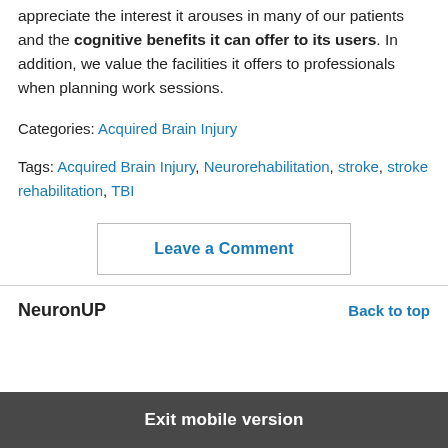appreciate the interest it arouses in many of our patients and the cognitive benefits it can offer to its users. In addition, we value the facilities it offers to professionals when planning work sessions.
Categories: Acquired Brain Injury
Tags: Acquired Brain Injury, Neurorehabilitation, stroke, stroke rehabilitation, TBI
Leave a Comment
NeuronUP   Back to top
Exit mobile version